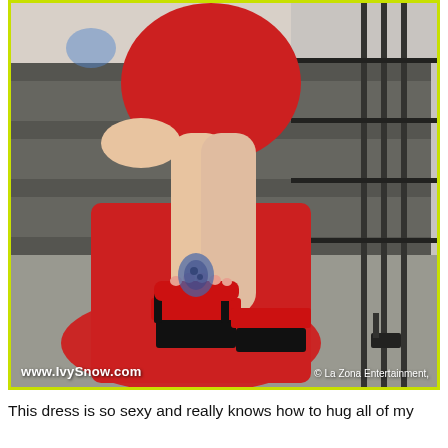[Figure (photo): Woman wearing a red dress and red platform high-heel mule shoes, sitting on dark metal industrial stairs. She has visible tattoos on her arm and ankle. The photo has a yellow-green border. Watermarks read 'www.IvySnow.com' on the lower left and '© La Zona Entertainment,' on the lower right.]
This dress is so sexy and really knows how to hug all of my